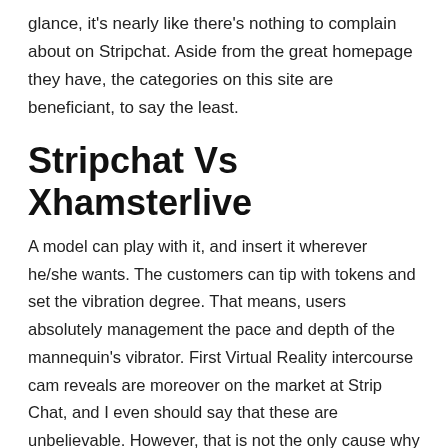glance, it's nearly like there's nothing to complain about on Stripchat. Aside from the great homepage they have, the categories on this site are beneficiant, to say the least.
Stripchat Vs Xhamsterlive
A model can play with it, and insert it wherever he/she wants. The customers can tip with tokens and set the vibration degree. That means, users absolutely management the pace and depth of the mannequin's vibrator. First Virtual Reality intercourse cam reveals are moreover on the market at Strip Chat, and I even should say that these are unbelievable. However, that is not the only cause why this selection is useful.
[Figure (photo): Broken image placeholder with label 'stripchat']